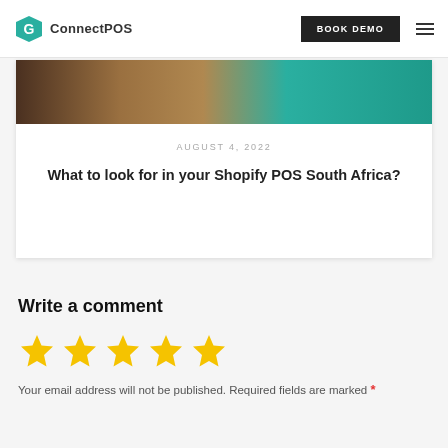ConnectPOS  BOOK DEMO
[Figure (photo): Article card with teal and brown image strip, date August 4 2022, and article title]
AUGUST 4, 2022
What to look for in your Shopify POS South Africa?
Write a comment
[Figure (other): Five yellow star rating icons]
Your email address will not be published. Required fields are marked *